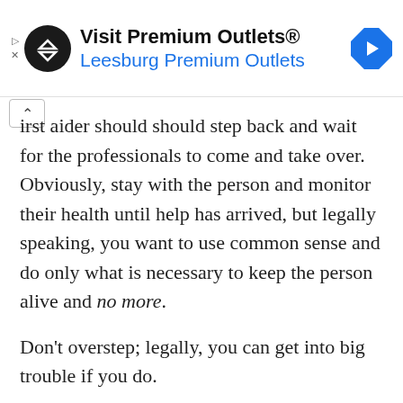[Figure (other): Advertisement banner for Visit Premium Outlets® / Leesburg Premium Outlets with circular logo and navigation icon]
agents — once the individual is stable, a first aider should should step back and wait for the professionals to come and take over. Obviously, stay with the person and monitor their health until help has arrived, but legally speaking, you want to use common sense and do only what is necessary to keep the person alive and no more.
Don't overstep; legally, you can get into big trouble if you do.
3. Do not make matters worse.